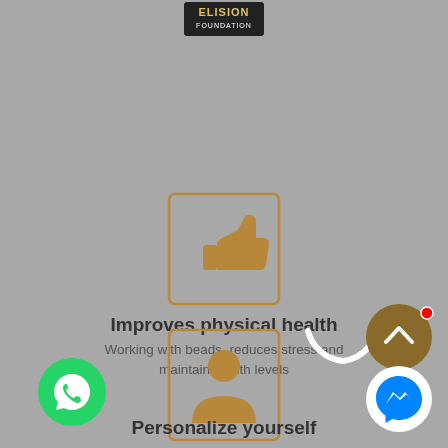[Figure (logo): Elision Foundation logo at top center]
[Figure (illustration): Thumbs up icon inside a rounded square border with golden/brown color]
Improves physical health
Working with beads, reduces stress and maintain health levels
[Figure (illustration): Person/profile icon inside a rounded square border with golden/brown color]
Personalize yourself
[Figure (illustration): Loading spinner arc overlay in white]
[Figure (illustration): WhatsApp green circle button with phone icon]
[Figure (illustration): Facebook Messenger blue circle button]
[Figure (illustration): Scroll to top brown circle button with upward chevron]